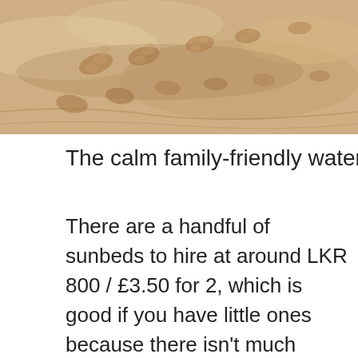[Figure (photo): Close-up photo of sandy beach surface with footprints and impressions in the sand, warm beige/tan tones.]
The calm family-friendly waters of Dalawella be
There are a handful of sunbeds to hire at around LKR 800 / £3.50 for 2, which is good if you have little ones because there isn't much shade on the beach. The big draw of this beach, however, is the chance of swimming with turtles who drift in and glide among the swimmers. Keep a careful lookout as they can glide past you without